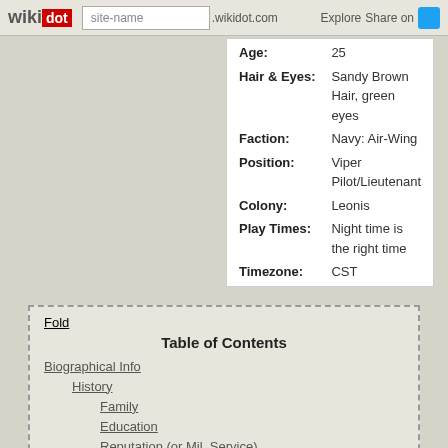wikidot | site-name .wikidot.com | Explore | Share on
| Field | Value |
| --- | --- |
| Age: | 25 |
| Hair & Eyes: | Sandy Brown Hair, green eyes |
| Faction: | Navy: Air-Wing |
| Position: | Viper Pilot/Lieutenant |
| Colony: | Leonis |
| Play Times: | Night time is the right time |
| Timezone: | CST |
Fold
Table of Contents
Biographical Info
History
Family
Education
Reputation (or Mil. Service)
Distinguishing Features
Trivia
Skills
On the Grid (Logs, Associates, and other info)
The Yakabout (AKA M' yearbook)
Timeline of Events
Quotes
Misc
Hale's Music
Logs